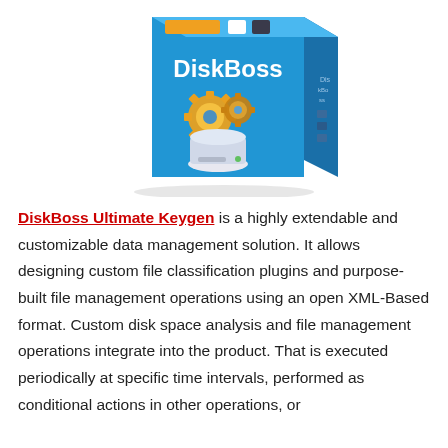[Figure (illustration): DiskBoss software product box illustration with blue box design, gears and hard drive graphic, and 'DiskBoss' text in white]
DiskBoss Ultimate Keygen is a highly extendable and customizable data management solution. It allows designing custom file classification plugins and purpose-built file management operations using an open XML-Based format. Custom disk space analysis and file management operations integrate into the product. That is executed periodically at specific time intervals, performed as conditional actions in other operations, or